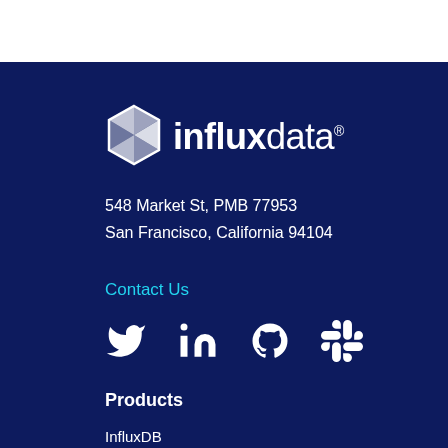[Figure (logo): InfluxData logo with geometric diamond icon and influxdata wordmark in white on dark navy background]
548 Market St, PMB 77953
San Francisco, California 94104
Contact Us
[Figure (infographic): Social media icons: Twitter, LinkedIn, GitHub, Slack]
Products
InfluxDB
Telegraf
Pricing